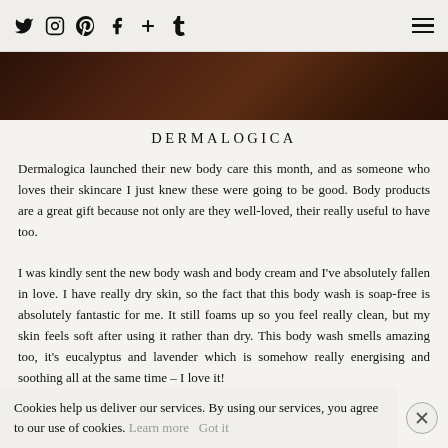social icons: twitter, instagram, pinterest, facebook, plus, tumblr | hamburger menu
[Figure (photo): Dark brown wood surface hero image]
DERMALOGICA
Dermalogica launched their new body care this month, and as someone who loves their skincare I just knew these were going to be good. Body products are a great gift because not only are they well-loved, their really useful to have too.
I was kindly sent the new body wash and body cream and I've absolutely fallen in love. I have really dry skin, so the fact that this body wash is soap-free is absolutely fantastic for me. It still foams up so you feel really clean, but my skin feels soft after using it rather than dry. This body wash smells amazing too, it's eucalyptus and lavender which is somehow really energising and soothing all at the same time – I love it!
Cookies help us deliver our services. By using our services, you agree to our use of cookies. Learn more Got it